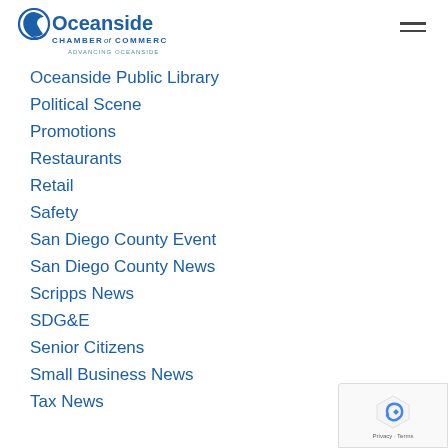Oceanside Chamber of Commerce — Advancing Oceanside
Oceanside Public Library
Political Scene
Promotions
Restaurants
Retail
Safety
San Diego County Event
San Diego County News
Scripps News
SDG&E
Senior Citizens
Small Business News
Tax News